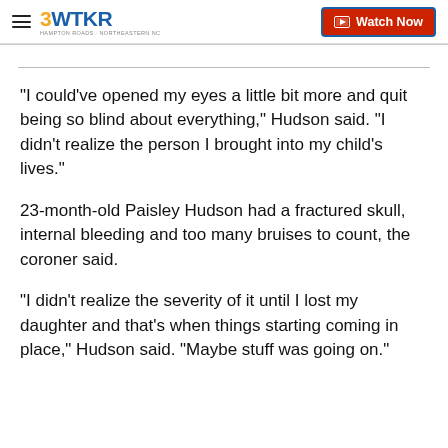3WTKR — Watch Now
"I could've opened my eyes a little bit more and quit being so blind about everything," Hudson said. "I didn't realize the person I brought into my child's lives."
23-month-old Paisley Hudson had a fractured skull, internal bleeding and too many bruises to count, the coroner said.
"I didn't realize the severity of it until I lost my daughter and that's when things starting coming in place," Hudson said. "Maybe stuff was going on."